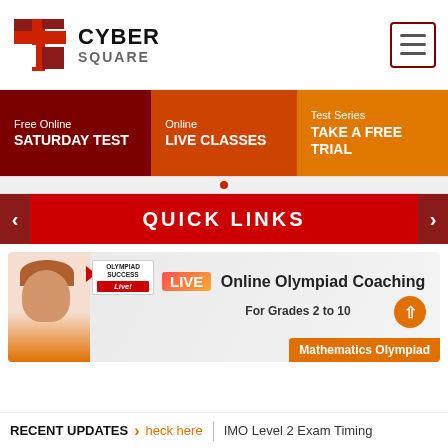[Figure (logo): CyberSquare logo with red cross/grid icon and CYBER SQUARE text]
Free Online
SATURDAY TEST
Online
LIVE CLASSES
Test Series
TAKE A FREE TRIAL
QUICK LINKS
[Figure (illustration): Olympiad Success Live banner - LIVE Online Olympiad Coaching For Grades 2 to 10, Mathematics Olympiad]
RECENT UPDATES > heck here | IMO Level 2 Exam Timing